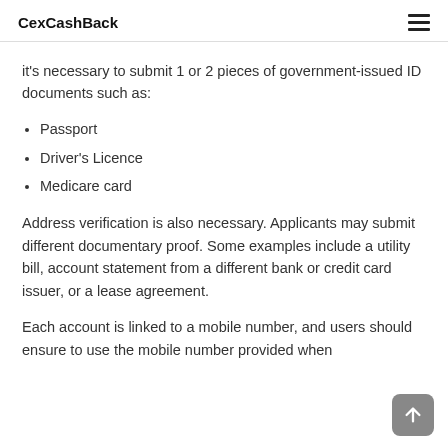CexCashBack
it's necessary to submit 1 or 2 pieces of government-issued ID documents such as:
Passport
Driver's Licence
Medicare card
Address verification is also necessary. Applicants may submit different documentary proof. Some examples include a utility bill, account statement from a different bank or credit card issuer, or a lease agreement.
Each account is linked to a mobile number, and users should ensure to use the mobile number provided when